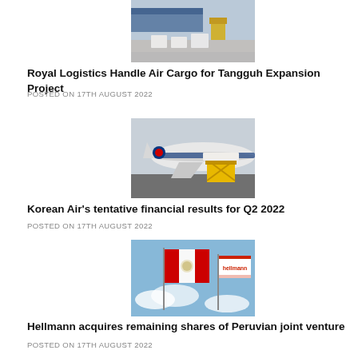[Figure (photo): Cargo being loaded at an airport with a forklift and white pallets on a wet tarmac with a blue truck in the background]
Royal Logistics Handle Air Cargo for Tangguh Expansion Project
POSTED ON 17TH AUGUST 2022
[Figure (photo): A Korean Air cargo plane being loaded with freight using a yellow scissor lift truck at an airport]
Korean Air's tentative financial results for Q2 2022
POSTED ON 17TH AUGUST 2022
[Figure (photo): A Peruvian flag and a Hellmann logistics company flag waving against a blue sky with clouds]
Hellmann acquires remaining shares of Peruvian joint venture
POSTED ON 17TH AUGUST 2022